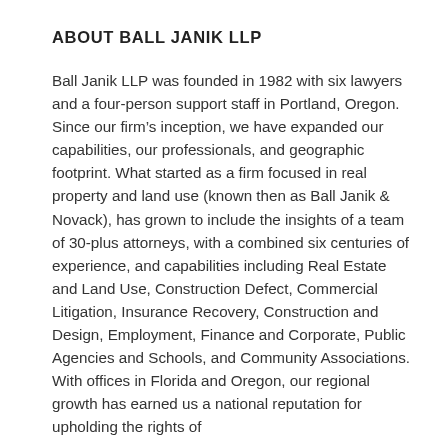ABOUT BALL JANIK LLP
Ball Janik LLP was founded in 1982 with six lawyers and a four-person support staff in Portland, Oregon. Since our firm’s inception, we have expanded our capabilities, our professionals, and geographic footprint. What started as a firm focused in real property and land use (known then as Ball Janik & Novack), has grown to include the insights of a team of 30-plus attorneys, with a combined six centuries of experience, and capabilities including Real Estate and Land Use, Construction Defect, Commercial Litigation, Insurance Recovery, Construction and Design, Employment, Finance and Corporate, Public Agencies and Schools, and Community Associations. With offices in Florida and Oregon, our regional growth has earned us a national reputation for upholding the rights of